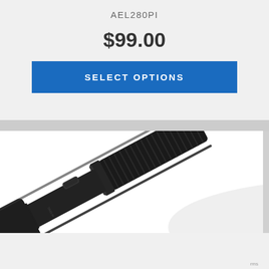AEL280PI
$99.00
SELECT OPTIONS
[Figure (photo): Close-up photo of a black tactical flashlight (AEL280PI) on a white background, showing the body grip texture, mode switch button, and lens end of the flashlight at an angle.]